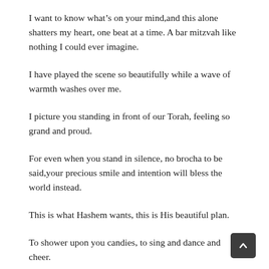I want to know what’s on your mind,and this alone shatters my heart, one beat at a time. A bar mitzvah like nothing I could ever imagine.
I have played the scene so beautifully while a wave of warmth washes over me.
I picture you standing in front of our Torah, feeling so grand and proud.
For even when you stand in silence, no brocha to be said,your precious smile and intention will bless the world instead.
This is what Hashem wants, this is His beautiful plan.
To shower upon you candies, to sing and dance and cheer.